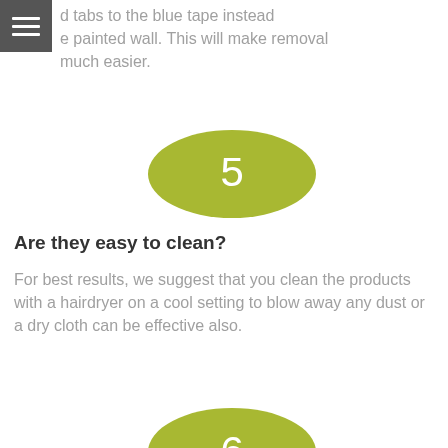d tabs to the blue tape instead e painted wall. This will make removal much easier.
[Figure (other): Olive/yellow-green oval badge with number 5 in white]
Are they easy to clean?
For best results, we suggest that you clean the products with a hairdryer on a cool setting to blow away any dust or a dry cloth can be effective also.
[Figure (other): Olive/yellow-green oval badge with number 6 in white]
How long does it take to receive my order?
Orders take about a week to manufacture depending of course on what you order and our work load at the time. We do our best to get orders out as quickly as possible.